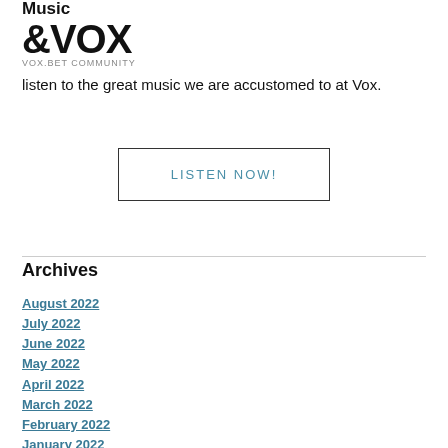Music
&Vox
Vox.bet Community
listen to the great music we are accustomed to at Vox.
LISTEN NOW!
Archives
August 2022
July 2022
June 2022
May 2022
April 2022
March 2022
February 2022
January 2022
December 2021
November 2021
October 2021